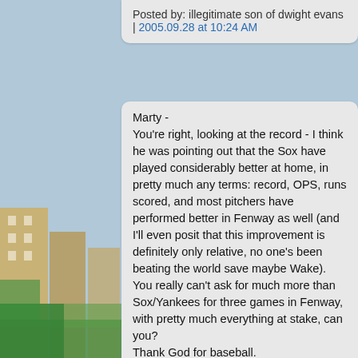Posted by: illegitimate son of dwight evans | 2005.09.28 at 10:24 AM
Marty -
You're right, looking at the record - I think he was pointing out that the Sox have played considerably better at home, in pretty much any terms: record, OPS, runs scored, and most pitchers have performed better in Fenway as well (and I'll even posit that this improvement is definitely only relative, no one's been beating the world save maybe Wake).
You really can't ask for much more than Sox/Yankees for three games in Fenway, with pretty much everything at stake, can you?
Thank God for baseball.

Posted by: d56 | 2005.09.28 at 11:12 AM
The one on Mount St. James. "In Hoc Signo Vinces" is almost a scarier saying than "Just Win, Baby!" but if it works, what the hell, right?!

Posted by: Follower of Tito | 2005.09.28 at 11:31 AM